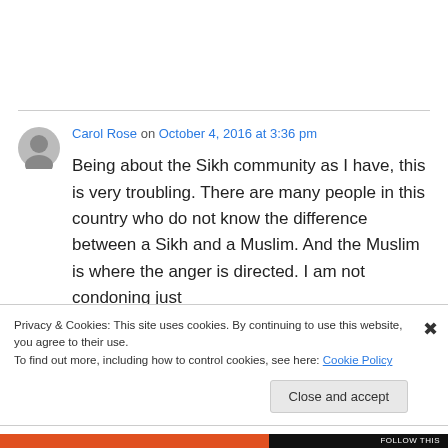Carol Rose on October 4, 2016 at 3:36 pm
Being about the Sikh community as I have, this is very troubling. There are many people in this country who do not know the difference between a Sikh and a Muslim. And the Muslim is where the anger is directed. I am not condoning just
Privacy & Cookies: This site uses cookies. By continuing to use this website, you agree to their use.
To find out more, including how to control cookies, see here: Cookie Policy
Close and accept